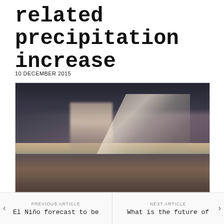related precipitation increase
10 DECEMBER 2015
[Figure (photo): Dramatic aerial photograph of a rain storm with light rays breaking through dark storm clouds over a landscape, showing heavy precipitation column and crepuscular rays]
PREVIOUS ARTICLE
El Niño forecast to be
NEXT ARTICLE
What is the future of